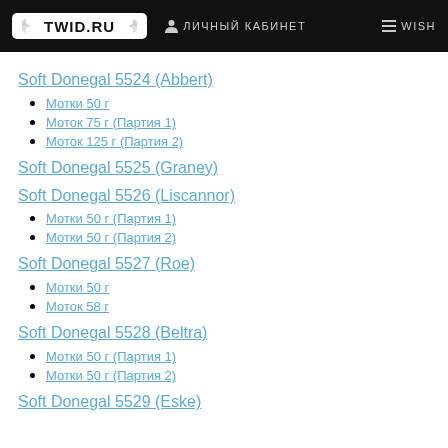TWID.RU | ЛИЧНЫЙ КАБИНЕТ | WISH
Soft Donegal 5524 (Abbert)
Мотки 50 г
Моток 75 г (Партия 1)
Моток 125 г (Партия 2)
Soft Donegal 5525 (Graney)
Soft Donegal 5526 (Liscannor)
Мотки 50 г (Партия 1)
Мотки 50 г (Партия 2)
Soft Donegal 5527 (Roe)
Мотки 50 г
Моток 58 г
Soft Donegal 5528 (Beltra)
Мотки 50 г (Партия 1)
Мотки 50 г (Партия 2)
Soft Donegal 5529 (Eske)